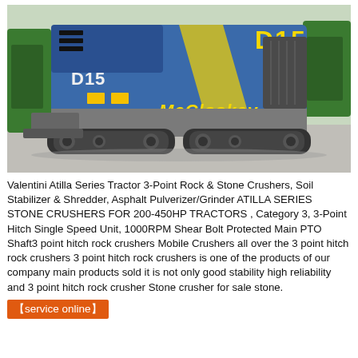[Figure (photo): McCloskey D15 mobile rock crusher machine on tracks, blue and yellow body, photographed outdoors on concrete with green equipment in background]
Valentini Atilla Series Tractor 3-Point Rock & Stone Crushers, Soil Stabilizer & Shredder, Asphalt Pulverizer/Grinder ATILLA SERIES STONE CRUSHERS FOR 200-450HP TRACTORS , Category 3, 3-Point Hitch Single Speed Unit, 1000RPM Shear Bolt Protected Main PTO Shaft3 point hitch rock crushers Mobile Crushers all over the 3 point hitch rock crushers 3 point hitch rock crushers is one of the products of our company main products sold it is not only good stability high reliability and 3 point hitch rock crusher Stone crusher for sale stone.
【service online】